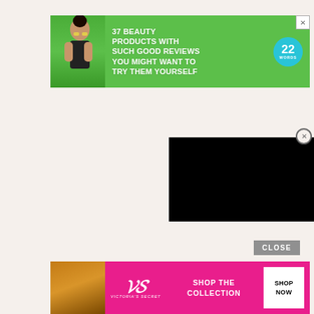[Figure (infographic): Top banner advertisement on green background: '37 BEAUTY PRODUCTS WITH SUCH GOOD REVIEWS YOU MIGHT WANT TO TRY THEM YOURSELF' with a woman's photo on left and '22 WORDS' badge on right. Has an X close button.]
[Figure (other): Black video player overlay in bottom-right area with a circular close (X) button above it.]
[Figure (other): CLOSE button (grey rectangle with white text) above the bottom banner ad.]
[Figure (infographic): Bottom banner advertisement for Victoria's Secret on pink/magenta background: VS logo, 'Victoria's Secret' brand name, 'SHOP THE COLLECTION' text, and a white 'SHOP NOW' button. Woman's photo on left.]